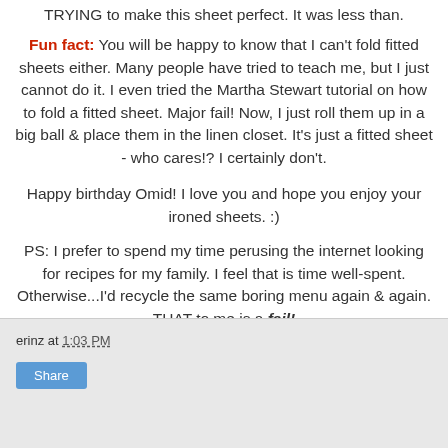TRYING to make this sheet perfect. It was less than.
Fun fact: You will be happy to know that I can't fold fitted sheets either. Many people have tried to teach me, but I just cannot do it. I even tried the Martha Stewart tutorial on how to fold a fitted sheet. Major fail! Now, I just roll them up in a big ball & place them in the linen closet. It's just a fitted sheet - who cares!? I certainly don't.
Happy birthday Omid! I love you and hope you enjoy your ironed sheets. :)
PS: I prefer to spend my time perusing the internet looking for recipes for my family. I feel that is time well-spent. Otherwise...I'd recycle the same boring menu again & again. THAT to me is a fail!
erinz at 1:03 PM  Share